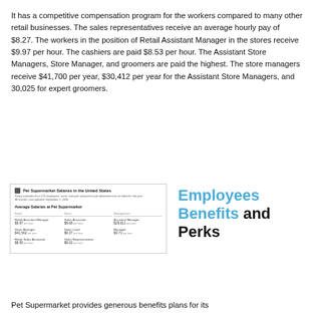It has a competitive compensation program for the workers compared to many other retail businesses. The sales representatives receive an average hourly pay of $8.27. The workers in the position of Retail Assistant Manager in the stores receive $9.97 per hour. The cashiers are paid $8.53 per hour. The Assistant Store Managers, Store Manager, and groomers are paid the highest. The store managers receive $41,700 per year, $30,412 per year for the Assistant Store Managers, and 30,025 for expert groomers.
[Figure (screenshot): Screenshot of Pet Supermarket Salaries in the United States table showing average salaries by role category (Retail, Sales, Management). Roles include Retail Assistant Manager $9.97/hr, Store Manager $41,562/yr, Retail Sales Associate $8.55/hr, Sales Associate $8.68/hr, Sales Lead $9.37/hr, Sales Representative $8.02/hr, Assistant Manager $29,611/yr, Manager $9.71/hr.]
Employees Benefits and Perks
Pet Supermarket provides generous benefits plans for its